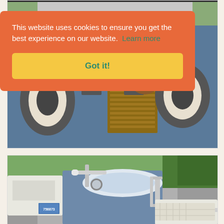[Figure (photo): Top-down view of a vintage motorcycle sidecar interior showing handlebars, engine components, wooden floor board, chrome parts and whitewall tires, parked on pavement with grass visible]
This website uses cookies to ensure you get the best experience on our website. Learn more
Got it!
[Figure (photo): Front view of a vintage grey/blue motorcycle with chrome handlebars, white fuel tank, chrome rack, sidecar attached, parked on a road with trees in background, old license plate visible]